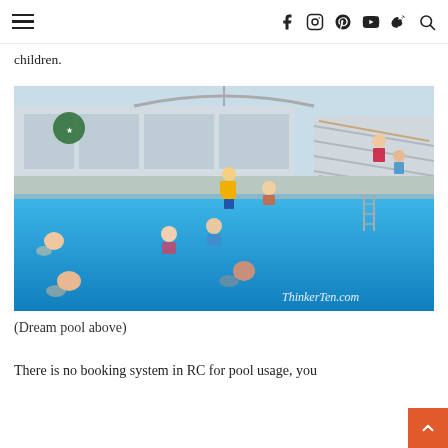Navigation header with hamburger menu and social icons (Facebook, Instagram, Pinterest, YouTube, Weibo, Search)
children.
[Figure (photo): Outdoor cruise ship pool deck (Dream pool) with several people swimming and playing in a bright blue pool. A crew member in yellow is visible on the deck. Staircase and upper deck structure visible in background. Watermark reads ThinkerTen.com]
(Dream pool above)
There is no booking system in RC for pool usage, you